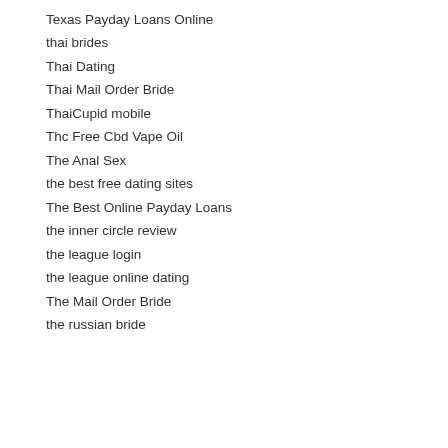Texas Installment Loans Direct Lenders
Texas Payday Loans Online
thai brides
Thai Dating
Thai Mail Order Bride
ThaiCupid mobile
Thc Free Cbd Vape Oil
The Anal Sex
the best free dating sites
The Best Online Payday Loans
the inner circle review
the league login
the league online dating
The Mail Order Bride
the russian bride